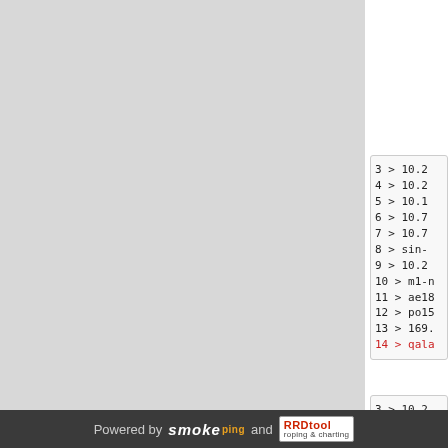[Figure (screenshot): Left gray panel area, likely a network topology or chart image area (cut off)]
3 > 10.2
4 > 10.2
5 > 10.1
6 > 10.7
7 > 10.7
8 > sin-
9 > 10.2
10 > m1-n
11 > ae18
12 > po15
13 > 169.
14 > qala
3 > 10.2
4 > 10.2
5 > 10.1
6 > 10.7
7 > 10.7
8 > sin-
Powered by smokeping and RRDtool